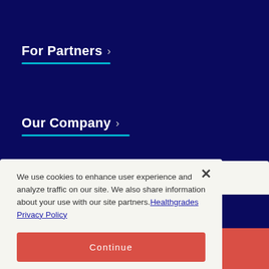For Partners
Our Company
Find Care
We use cookies to enhance user experience and analyze traffic on our site. We also share information about your use with our site partners. Healthgrades Privacy Policy
Continue
Access my Privacy Preferences